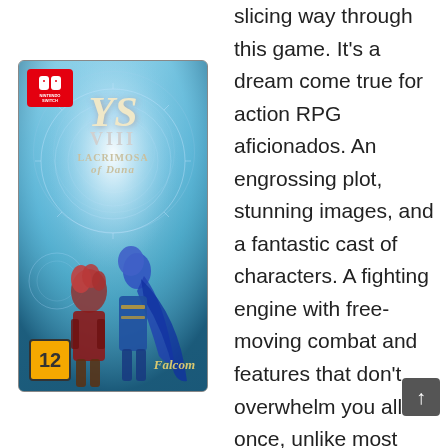[Figure (photo): Nintendo Switch game box art for Ys VIII: Lacrimosa of Dana by Falcom. Shows two anime characters (red-haired male and blue-haired female) standing back to back against a blue mystical background with circular rune patterns. Has Nintendo Switch badge top-left, PEGI 12 age rating badge bottom-left, and Falcom logo bottom-right.]
slicing way through this game. It's a dream come true for action RPG aficionados. An engrossing plot, stunning images, and a fantastic cast of characters. A fighting engine with free-moving combat and features that don't overwhelm you all at once, unlike most games in the genre. A worthy successor to one of the best JRPG franchises of